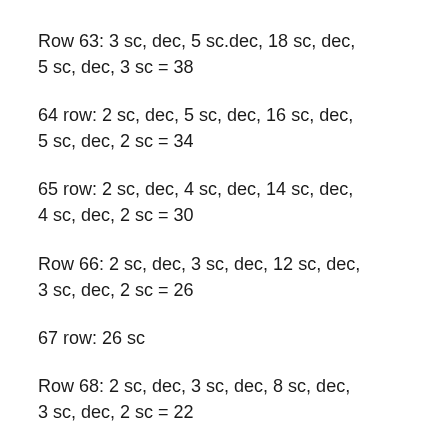Row 63: 3 sc, dec, 5 sc.dec, 18 sc, dec, 5 sc, dec, 3 sc = 38
64 row: 2 sc, dec, 5 sc, dec, 16 sc, dec, 5 sc, dec, 2 sc = 34
65 row: 2 sc, dec, 4 sc, dec, 14 sc, dec, 4 sc, dec, 2 sc = 30
Row 66: 2 sc, dec, 3 sc, dec, 12 sc, dec, 3 sc, dec, 2 sc = 26
67 row: 26 sc
Row 68: 2 sc, dec, 3 sc, dec, 8 sc, dec, 3 sc, dec, 2 sc = 22